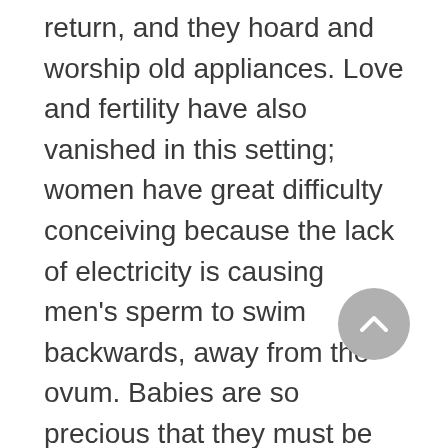return, and they hoard and worship old appliances. Love and fertility have also vanished in this setting; women have great difficulty conceiving because the lack of electricity is causing men's sperm to swim backwards, away from the ovum. Babies are so precious that they must be protected from kidnappers by armed nannies, who are given special drugs that make them fiercely protective of their charges without allowing them to form true emotional bonds with them. The